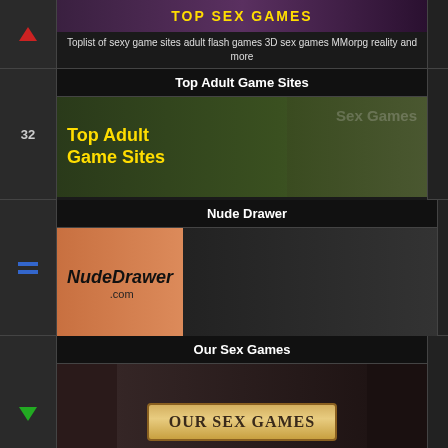[Figure (illustration): Top sex games banner image with 3D fantasy figures]
Toplist of sexy game sites adult flash games 3D sex games MMorpg reality and more
Top Adult Game Sites
[Figure (illustration): Top Adult Game Sites banner with animated warrior woman and Sex Games text]
Top adult sex games sites listings for fun and excitement flash and 3d adult game websites.
Nude Drawer
[Figure (illustration): NudeDrawer.com banner with comic book style erotic art]
Erotic Babe Art
Our Sex Games
[Figure (illustration): Our Sex Games banner with scroll and 3D fantasy figures]
Adult Games blog containing sexy game girls pin-up pictures and links to everything in the adult gaming industry
EROTIC GRAPHICS